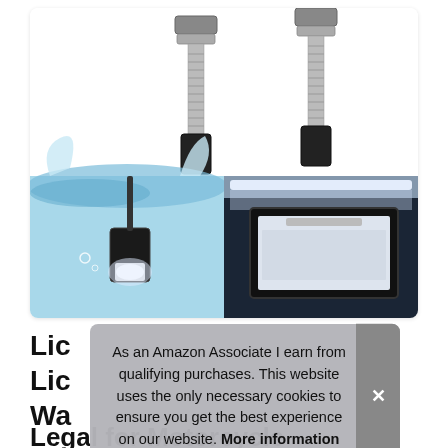[Figure (photo): Product photo showing two chrome bolt/screw license plate light fixtures at top, and below left a waterproof LED light submerged in water, and below right a lit license plate frame illuminated from above.]
Lic
Lic
Wa
As an Amazon Associate I earn from qualifying purchases. This website uses the only necessary cookies to ensure you get the best experience on our website. More information
Legal for Motorcycle Bike Truck RV